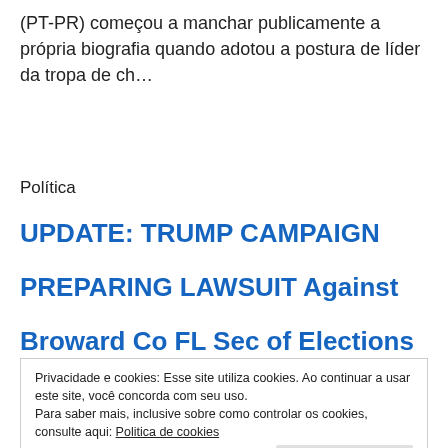(PT-PR) começou a manchar publicamente a própria biografia quando adotou a postura de líder da tropa de ch…
Política
UPDATE: TRUMP CAMPAIGN
PREPARING LAWSUIT Against
Broward Co FL Sec of Elections
Privacidade e cookies: Esse site utiliza cookies. Ao continuar a usar este site, você concorda com seu uso.
Para saber mais, inclusive sobre como controlar os cookies, consulte aqui: Politica de cookies
Fechar e aceitar
Partilhado por